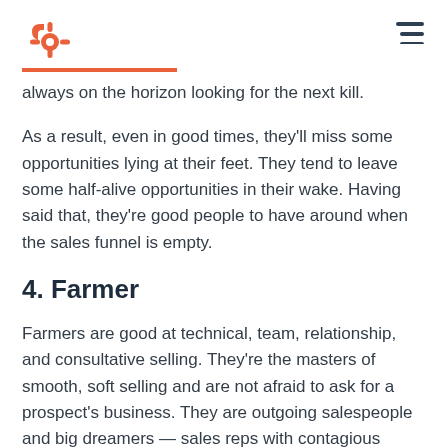HubSpot logo and navigation
always on the horizon looking for the next kill.
As a result, even in good times, they'll miss some opportunities lying at their feet. They tend to leave some half-alive opportunities in their wake. Having said that, they're good people to have around when the sales funnel is empty.
4. Farmer
Farmers are good at technical, team, relationship, and consultative selling. They're the masters of smooth, soft selling and are not afraid to ask for a prospect's business. They are outgoing salespeople and big dreamers — sales reps with contagious enthusiasm